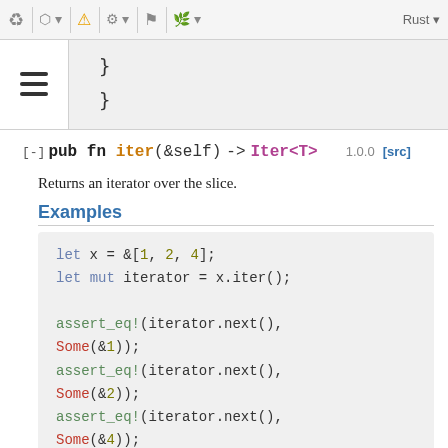Rust documentation toolbar
}
}
[-] pub fn iter(&self) -> Iter<T>    1.0.0 [src]
Returns an iterator over the slice.
Examples
let x = &[1, 2, 4];
let mut iterator = x.iter();

assert_eq!(iterator.next(),
Some(&1));
assert_eq!(iterator.next(),
Some(&2));
assert_eq!(iterator.next(),
Some(&4));